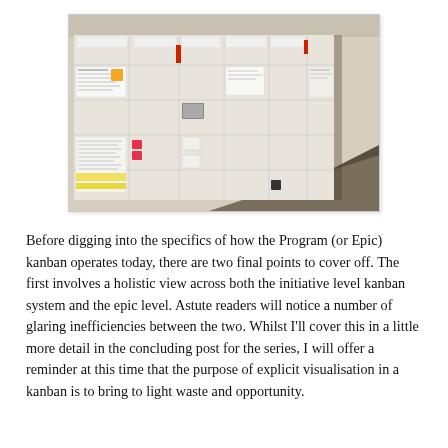[Figure (photo): Photograph of a large kanban board on a wall in an office corridor, with papers, sticky notes, and cards arranged in a grid of columns and rows. The board stretches along the wall and various colored notes (orange, pink, red) are visible among white printed sheets.]
Before digging into the specifics of how the Program (or Epic) kanban operates today, there are two final points to cover off. The first involves a holistic view across both the initiative level kanban system and the epic level. Astute readers will notice a number of glaring inefficiencies between the two. Whilst I'll cover this in a little more detail in the concluding post for the series, I will offer a reminder at this time that the purpose of explicit visualisation in a kanban is to bring to light waste and opportunity.